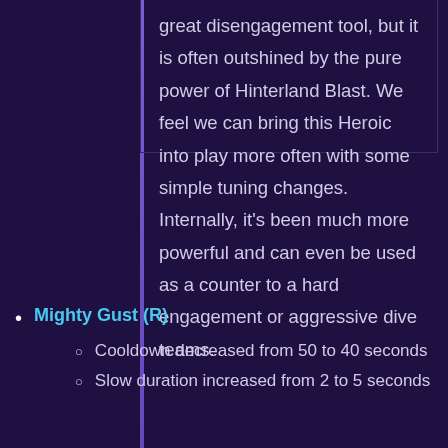great disengagement tool, but it is often outshined by the pure power of Hinterland Blast. We feel we can bring this Heroic into play more often with some simple tuning changes. Internally, it's been much more powerful and can even be used as a counter to a hard engagement or aggressive dive teams.
Mighty Gust (R)
Cooldown decreased from 50 to 40 seconds
Slow duration increased from 2 to 5 seconds